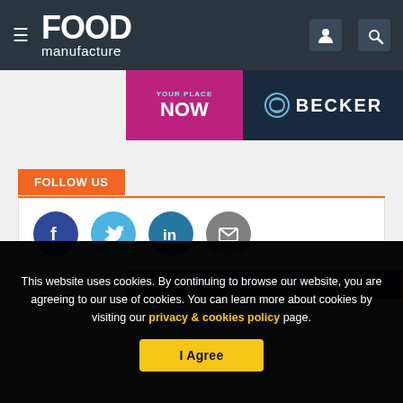FOOD manufacture
[Figure (screenshot): Advertisement banner: 'YOUR PLACE NOW' in magenta/purple background with BECKER logo on dark navy background]
FOLLOW US
[Figure (infographic): Social media icons row: Facebook (dark blue), Twitter (light blue), LinkedIn (teal), Email (grey)]
[Figure (screenshot): Partial advertisement banner with orange border, dark navy background]
This website uses cookies. By continuing to browse our website, you are agreeing to our use of cookies. You can learn more about cookies by visiting our privacy & cookies policy page.